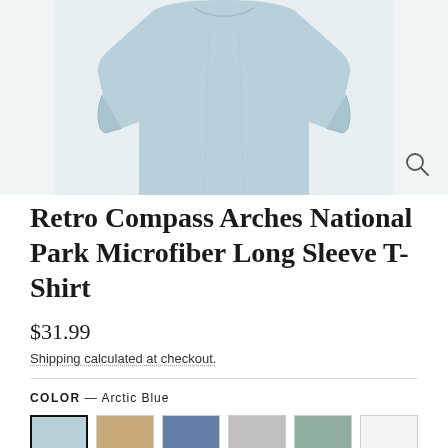[Figure (photo): A light blue long sleeve microfiber t-shirt displayed on a white/light background, showing the torso and arms, with a magnify icon in the lower right corner.]
Retro Compass Arches National Park Microfiber Long Sleeve T-Shirt
$31.99
Shipping calculated at checkout.
COLOR — Arctic Blue
[Figure (other): Six color swatches in a row: Arctic Blue (selected, with black border), tan/sand, steel blue, light gray, sage green, white.]
SIZE